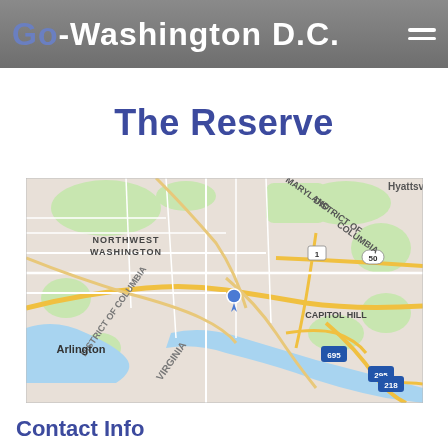Go-Washington D.C.
The Reserve
[Figure (map): Google Maps view showing Washington D.C. area including Northwest Washington, District of Columbia, Arlington, Capitol Hill, and surrounding areas including Maryland. A blue location marker is pinned near the center of D.C.]
Contact Info